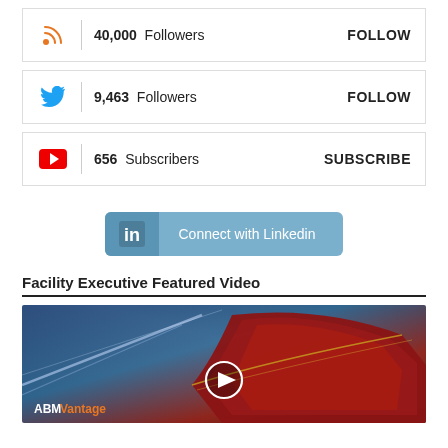40,000 Followers FOLLOW
9,463 Followers FOLLOW
656 Subscribers SUBSCRIBE
[Figure (infographic): LinkedIn Connect with Linkedin button]
Facility Executive Featured Video
[Figure (screenshot): ABM Vantage featured video thumbnail showing a red car side mirror in a tunnel with a play button overlay]